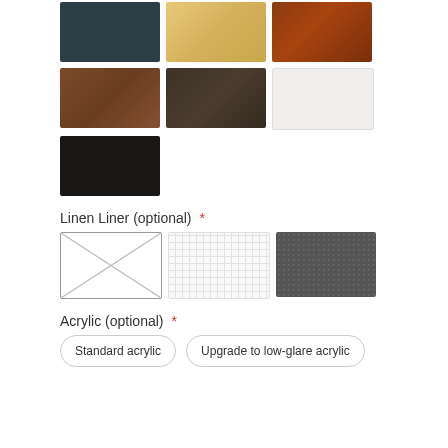[Figure (illustration): Color swatches row 1: dark teal, maple/natural wood, cherry/brown wood]
[Figure (illustration): Color swatches row 2: walnut brown, espresso dark brown, off-white/white]
[Figure (illustration): Color swatch row 3: black]
Linen Liner (optional) *
[Figure (illustration): Linen liner options: none (placeholder with X), white mesh fabric, dark charcoal fabric]
Acrylic (optional) *
[Figure (other): Two button options: Standard acrylic, Upgrade to low-glare acrylic]